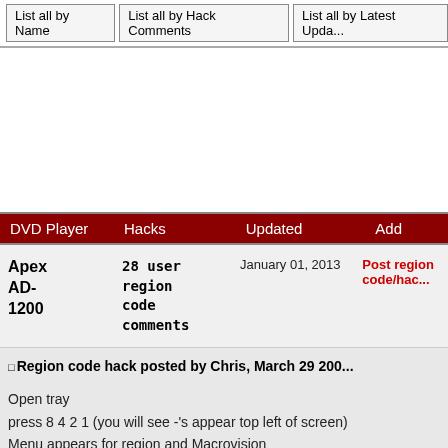List all by Name | List all by Hack Comments | List all by Latest Update
| DVD Player | Hacks | Updated | Add |
| --- | --- | --- | --- |
| Apex AD-1200 | 28 user region code comments | January 01, 2013 | Post region code/hack |
Region code hack posted by Chris, March 29 200...
Open tray
press 8 4 2 1 (you will see -'s appear top left of screen)
Menu appears for region and Macrovision